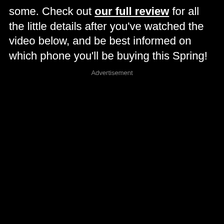some. Check out our full review for all the little details after you've watched the video below, and be best informed on which phone you'll be buying this Spring!
Advertisement